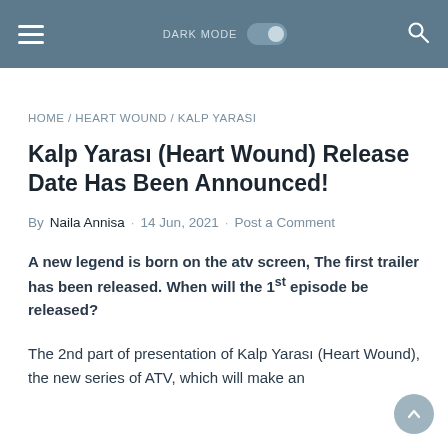DARK MODE [toggle] [search]
HOME / HEART WOUND / KALP YARASI
Kalp Yarası (Heart Wound) Release Date Has Been Announced!
By Naila Annisa · 14 Jun, 2021 · Post a Comment
A new legend is born on the atv screen, The first trailer has been released. When will the 1st episode be released?
The 2nd part of presentation of Kalp Yarası (Heart Wound), the new series of ATV, which will make an